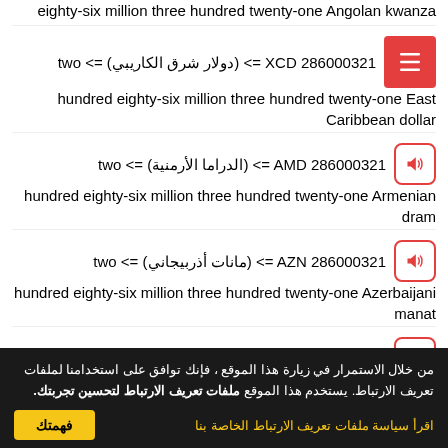eighty-six million three hundred twenty-one Angolan kwanza
286000321 XCD <= (دولار شرق الكاريبي) <= two hundred eighty-six million three hundred twenty-one East Caribbean dollar
286000321 AMD <= (الدراما الأرمنية) <= two hundred eighty-six million three hundred twenty-one Armenian dram
286000321 AZN <= (مانات أذربيجاني) <= two hundred eighty-six million three hundred twenty-one Azerbaijani manat
286000321 BSD <= (الدولار البهامي) <= two
من خلال الاستمرار في زيارة هذا الموقع ، فإنك توافق على استخدامنا لملفات تعريف الارتباط. يستخدم هذا الموقع ملفات تعريف الارتباط لتحسين تجربتك.
اقرأ سياسة ملفات تعريف الارتباط الخاصة بنا
فهمتك